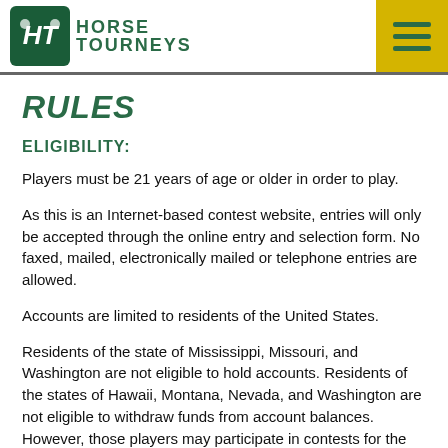HORSE TOURNEYS
RULES
ELIGIBILITY:
Players must be 21 years of age or older in order to play.
As this is an Internet-based contest website, entries will only be accepted through the online entry and selection form. No faxed, mailed, electronically mailed or telephone entries are allowed.
Accounts are limited to residents of the United States.
Residents of the state of Mississippi, Missouri, and Washington are not eligible to hold accounts. Residents of the states of Hawaii, Montana, Nevada, and Washington are not eligible to withdraw funds from account balances. However, those players may participate in contests for the purpose of receiving contest prizes, not through account balances.